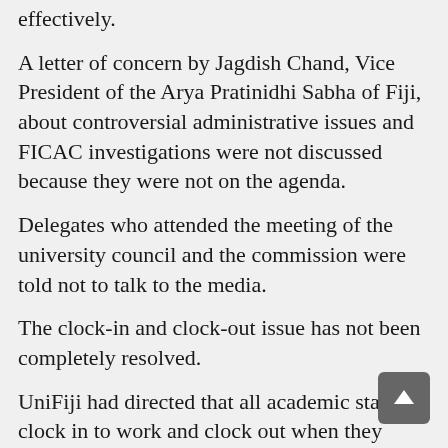effectively.
A letter of concern by Jagdish Chand, Vice President of the Arya Pratinidhi Sabha of Fiji, about controversial administrative issues and FICAC investigations were not discussed because they were not on the agenda.
Delegates who attended the meeting of the university council and the commission were told not to talk to the media.
The clock-in and clock-out issue has not been completely resolved.
UniFiji had directed that all academic staff clock in to work and clock out when they leave the university's campuses, something that did not go down well with university